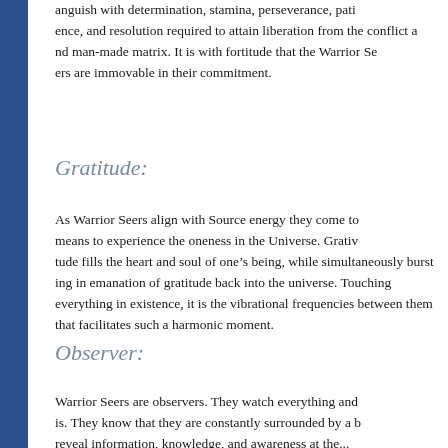anguish with determination, stamina, perseverance, patience, and resolution required to attain liberation from the conflict and man-made matrix. It is with fortitude that the Warrior Seers are immovable in their commitment.
Gratitude:
As Warrior Seers align with Source energy they come to means to experience the oneness in the Universe. Gratitude fills the heart and soul of one’s being, while simultaneously bursting in emanation of gratitude back into the universe. Touching everything in existence, it is the vibrational frequencies between them that facilitates such a harmonic moment.
Observer:
Warrior Seers are observers. They watch everything and everything is. They know that they are constantly surrounded by a boundless reveal information, knowledge, and awareness at the...